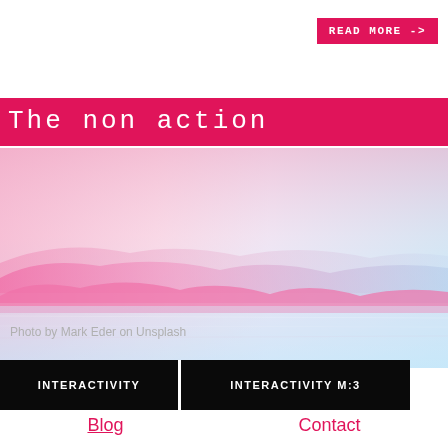READ MORE ->
The non action
[Figure (photo): Abstract pink and blue gradient landscape with soft hills/dunes, photo by Mark Eder on Unsplash]
Photo by Mark Eder on Unsplash
INTERACTIVITY
INTERACTIVITY M:3
Blog
Contact